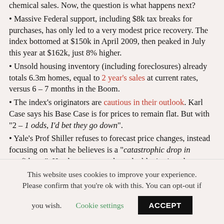chemical sales. Now, the question is what happens next?
Massive Federal support, including $8k tax breaks for purchases, has only led to a very modest price recovery. The index bottomed at $150k in April 2009, then peaked in July this year at $162k, just 8% higher.
Unsold housing inventory (including foreclosures) already totals 6.3m homes, equal to 2 year's sales at current rates, versus 6 – 7 months in the Boom.
The index's originators are cautious in their outlook. Karl Case says his Base Case is for prices to remain flat. But with "2 – 1 odds, I'd bet they go down".
Yale's Prof Shiller refuses to forecast price changes, instead focusing on what he believes is a "catastrophic drop in confidence". He also seems to share the blog's view that we could be entering a New
This website uses cookies to improve your experience. Please confirm that you're ok with this. You can opt-out if you wish. Cookie settings ACCEPT